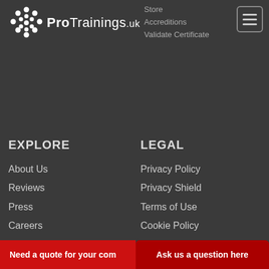ProTrainings.uk
Store
Accreditations
Validate Certificate
EXPLORE
About Us
Reviews
Press
Careers
The First Aid Show
Free Student First Aid
LEGAL
Privacy Policy
Privacy Shield
Terms of Use
Cookie Policy
Need a quote for your com
Ask us a question here